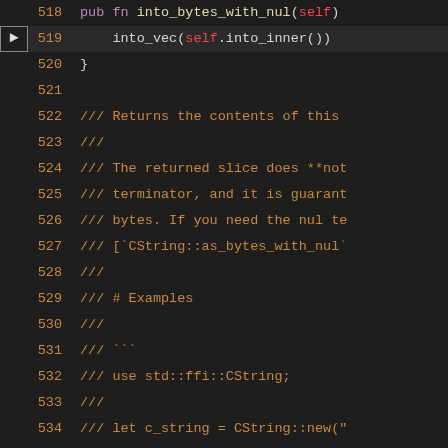[Figure (screenshot): Rust source code editor screenshot showing lines 518-536. Line 518 shows 'pub fn into_bytes_with_nul(self)', line 519 (highlighted with arrow) shows 'into_vec(self.into_inner())', line 520 shows closing brace, line 521 empty, lines 522-535 show doc comments (///) about 'Returns the contents of this...', 'The returned slice does **not', 'terminator, and it is guarant', 'bytes. If you need the nul te', '[`CString::as_bytes_with_nul`', followed by examples section with use std::ffi::CString and let bindings.]